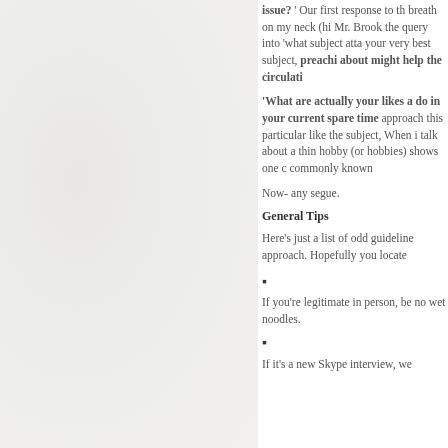issue? ' Our first response to the breath on my neck (hi Mr. Brook the query into 'what subject atta your very best subject, preaching about might help the circulation
'What are actually your likes a do in your current spare time approach this particular like the subject, When i talk about a thin hobby (or hobbies) shows one c commonly known
Now- any segue.
General Tips
Here's just a list of odd guidelin approach. Hopefully you locate
If you're legitimate in person, be no wet noodles.
If it's a new Skype interview, we